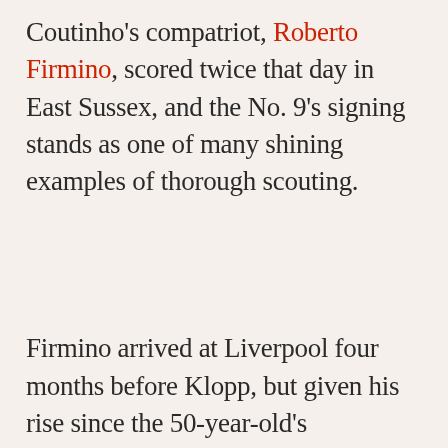Coutinho's compatriot, Roberto Firmino, scored twice that day in East Sussex, and the No. 9's signing stands as one of many shining examples of thorough scouting.
Firmino arrived at Liverpool four months before Klopp, but given his rise since the 50-year-old's